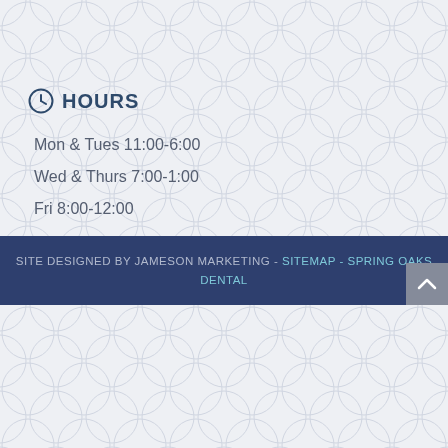HOURS
Mon & Tues 11:00-6:00
Wed & Thurs 7:00-1:00
Fri 8:00-12:00
MAKE AN APPOINTMENT TODAY!
SITE DESIGNED BY JAMESON MARKETING - Sitemap - Spring Oaks Dental